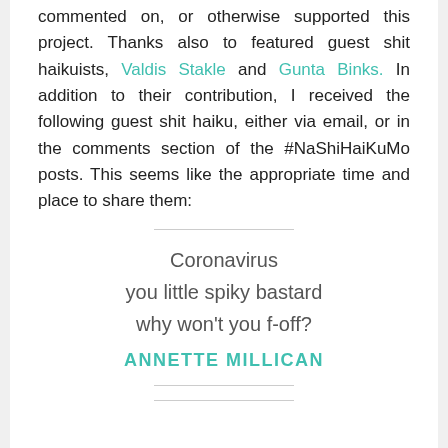commented on, or otherwise supported this project. Thanks also to featured guest shit haikuists, Valdis Stakle and Gunta Binks. In addition to their contribution, I received the following guest shit haiku, either via email, or in the comments section of the #NaShiHaiKuMo posts. This seems like the appropriate time and place to share them:
Coronavirus
you little spiky bastard
why won't you f-off?
ANNETTE MILLICAN